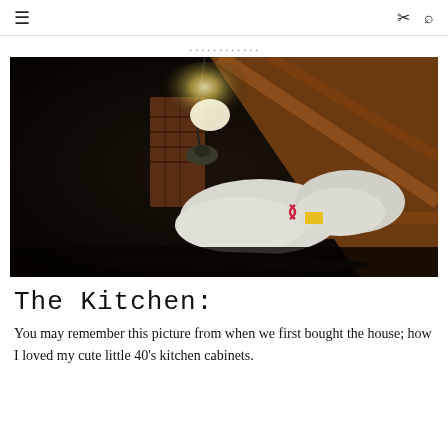≡   ⋮ 🔍
...
[Figure (photo): Dark attic space with a work lamp illuminating insulation bags and exposed wooden rafters, with a brick chimney visible in the background.]
The Kitchen:
You may remember this picture from when we first bought the house; how I loved my cute little 40's kitchen cabinets.